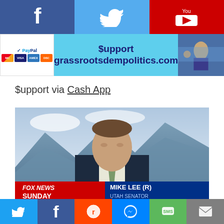[Figure (screenshot): Top social media bar with Facebook, Twitter, and YouTube icons on colored backgrounds (blue, light blue, red)]
[Figure (infographic): Support banner with PayPal logo and credit card icons, cyan '$upport grassrootsdempolitics.com' text, and a photo of a person at a rally]
$upport via Cash App
[Figure (screenshot): Fox News Sunday screenshot showing Senator Mike Lee (R) Utah Senator in a TV interview with mountains in background]
Senator Mike Lee(R-UT) appeared on Fox News
[Figure (infographic): Bottom social sharing bar with Twitter, Facebook, Reddit, Messenger, SMS, and Email icons]